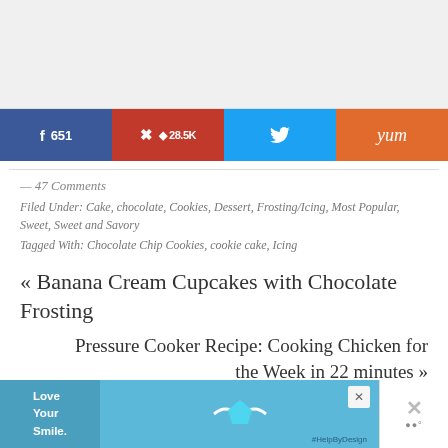[Figure (other): Gray top area placeholder (image area above social buttons)]
[Figure (infographic): Social share buttons row: Facebook (651), Pinterest (28.5K), Twitter, Yummly]
— 47 Comments
Filed Under: Cake, chocolate, Cookies, Dessert, Frosting/Icing, Most Popular, Sweet, Sweet and Savory
Tagged With: Chocolate Chip Cookies, cookie cake, Icing
« Banana Cream Cupcakes with Chocolate Frosting
Pressure Cooker Recipe: Cooking Chicken for the Week in 22 minutes »
[Figure (screenshot): Advertisement banner at the bottom: Love Your Smile #HelpByDesign]